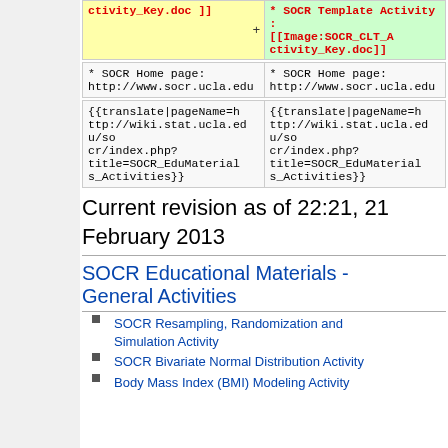| ctivity_Key.doc ]] | * SOCR Template Activity : [[Image:SOCR_CLT_Activity_Key.doc]] |
| * SOCR Home page: http://www.socr.ucla.edu | * SOCR Home page: http://www.socr.ucla.edu |
| {{translate|pageName=http://wiki.stat.ucla.edu/socr/index.php?title=SOCR_EduMaterials_Activities}} | {{translate|pageName=http://wiki.stat.ucla.edu/socr/index.php?title=SOCR_EduMaterials_Activities}} |
Current revision as of 22:21, 21 February 2013
SOCR Educational Materials - General Activities
SOCR Resampling, Randomization and Simulation Activity
SOCR Bivariate Normal Distribution Activity
Body Mass Index (BMI) Modeling Activity